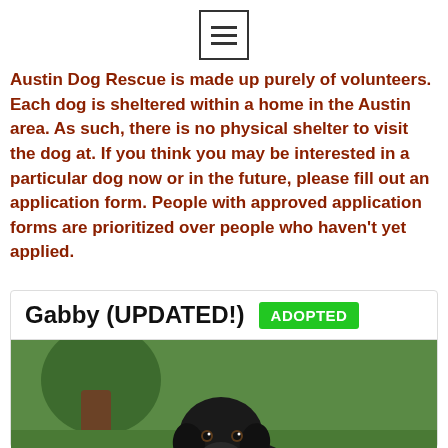[Figure (other): Hamburger menu icon — three horizontal lines inside a square border]
Austin Dog Rescue is made up purely of volunteers. Each dog is sheltered within a home in the Austin area. As such, there is no physical shelter to visit the dog at. If you think you may be interested in a particular dog now or in the future, please fill out an application form. People with approved application forms are prioritized over people who haven't yet applied.
Gabby (UPDATED!) ADOPTED
[Figure (photo): Black dog sitting on green grass outdoors near a tree]